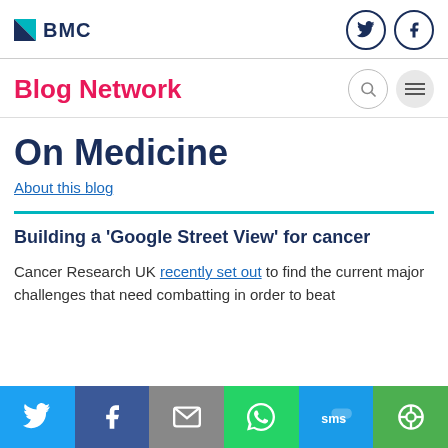BMC
Blog Network
On Medicine
About this blog
Building a 'Google Street View' for cancer
Cancer Research UK recently set out to find the current major challenges that need combatting in order to beat